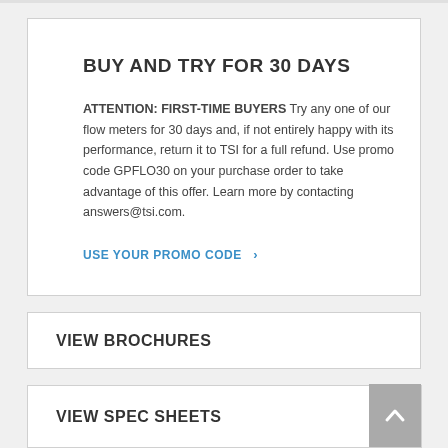BUY AND TRY FOR 30 DAYS
ATTENTION: FIRST-TIME BUYERS Try any one of our flow meters for 30 days and, if not entirely happy with its performance, return it to TSI for a full refund. Use promo code GPFLO30 on your purchase order to take advantage of this offer. Learn more by contacting answers@tsi.com.
USE YOUR PROMO CODE >
VIEW BROCHURES
VIEW SPEC SHEETS